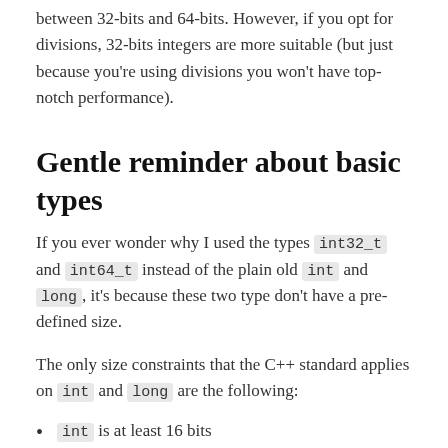between 32-bits and 64-bits. However, if you opt for divisions, 32-bits integers are more suitable (but just because you're using divisions you won't have top-notch performance).
Gentle reminder about basic types
If you ever wonder why I used the types int32_t and int64_t instead of the plain old int and long, it's because these two type don't have a pre-defined size.
The only size constraints that the C++ standard applies on int and long are the following:
int is at least 16 bits